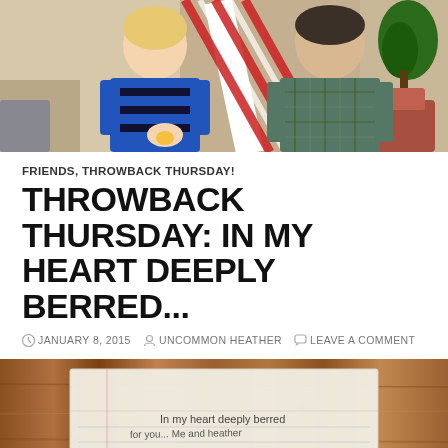[Figure (photo): Two people standing together indoors near a Christmas tree; one wearing blue striped sweater, other wearing plaid shirt with a red and white candy cane sash]
FRIENDS, THROWBACK THURSDAY!
THROWBACK THURSDAY: IN MY HEART DEEPLY BERRED...
JANUARY 8, 2015   UNCOMMON HEATHER   LEAVE A COMMENT
[Figure (photo): A handwritten letter on white paper resting on a wooden table surface, with text reading: In my heart deeply berred... and additional handwritten lines below]